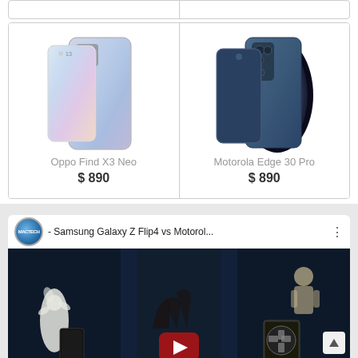[Figure (photo): Product listing card for Oppo Find X3 Neo smartphone showing front and back views in silver/blue gradient color]
Oppo Find X3 Neo
$ 890
[Figure (photo): Product listing card for Motorola Edge 30 Pro smartphone showing front and back views in blue with abstract design]
Motorola Edge 30 Pro
$ 890
[Figure (screenshot): YouTube video thumbnail showing Samsung Galaxy Z Flip4 vs Motorol... comparison video by MACTECH channel, dark themed thumbnail with phone silhouettes and YouTube play button]